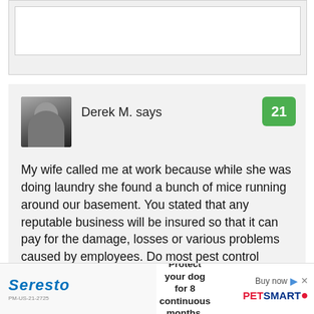[Figure (other): White input/text box on grey background, partially visible at top of page]
Derek M. says
21
My wife called me at work because while she was doing laundry she found a bunch of mice running around our basement. You stated that any reputable business will be insured so that it can pay for the damage, losses or various problems caused by employees. Do most pest control treatments have a chance of resulting in the need for insurance?
[Figure (illustration): Advertisement banner: Seresto - Protect your dog for 8 continuous months. PetSmart Buy now.]